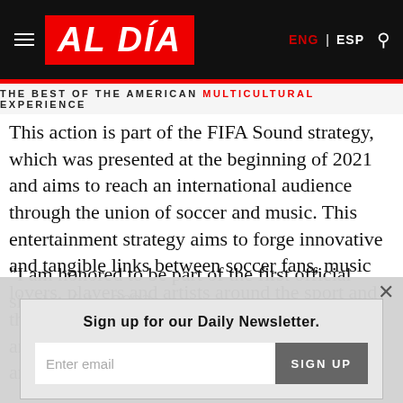AL DÍA — THE BEST OF THE AMERICAN MULTICULTURAL EXPERIENCE
This action is part of the FIFA Sound strategy, which was presented at the beginning of 2021 and aims to reach an international audience through the union of soccer and music. This entertainment strategy aims to forge innovative and tangible links between soccer fans, music lovers, players and artists around the sport and their favorite songs. This song features local artist Aisha, young American Trinidad Cardona and Afrobeat Davido.
"I am honored to be part of the first official single of the 2022
Sign up for our Daily Newsletter.